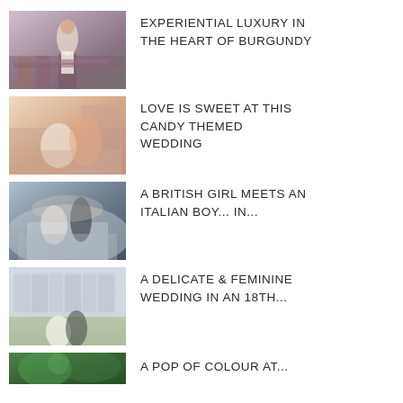[Figure (photo): Bride in white dress standing near floral arrangement with purple flowers]
EXPERIENTIAL LUXURY IN THE HEART OF BURGUNDY
[Figure (photo): Bride and groom in pink suit sitting by fireplace]
LOVE IS SWEET AT THIS CANDY THEMED WEDDING
[Figure (photo): Couple in vintage car, woman in hat and sunglasses]
A BRITISH GIRL MEETS AN ITALIAN BOY... IN...
[Figure (photo): Bride and groom in front of large chateau building]
A DELICATE & FEMININE WEDDING IN AN 18TH...
[Figure (photo): Partial photo of green outdoor wedding scene]
A POP OF COLOUR AT...